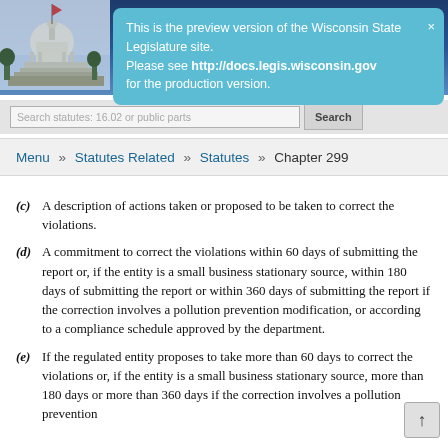Wisconsin State Legislature website header with HOME navigation
This is the preview version of the Wisconsin State Legislature site. Please see http://docs.legis.wisconsin.gov for the production version.
Search statutes: 16.02 or public parks | Search
Menu » Statutes Related » Statutes » Chapter 299
(c) A description of actions taken or proposed to be taken to correct the violations.
(d) A commitment to correct the violations within 60 days of submitting the report or, if the entity is a small business stationary source, within 180 days of submitting the report or within 360 days of submitting the report if the correction involves a pollution prevention modification, or according to a compliance schedule approved by the department.
(e) If the regulated entity proposes to take more than 60 days to correct the violations or, if the entity is a small business stationary source, more than 180 days or more than 360 days if the correction involves a pollution prevention